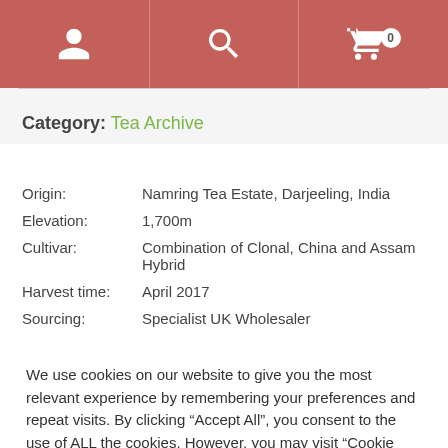Navigation bar with user, search, and cart icons
Category: Tea Archive
| Label | Value |
| --- | --- |
| Origin: | Namring Tea Estate, Darjeeling, India |
| Elevation: | 1,700m |
| Cultivar: | Combination of Clonal, China and Assam Hybrid |
| Harvest time: | April 2017 |
| Sourcing: | Specialist UK Wholesaler |
We use cookies on our website to give you the most relevant experience by remembering your preferences and repeat visits. By clicking “Accept All”, you consent to the use of ALL the cookies. However, you may visit "Cookie Settings" to provide a controlled consent.
Cookie Settings | Accept All